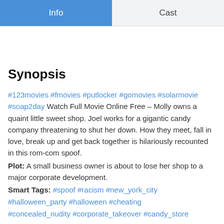Info | Cast
Synopsis
#123movies #fmovies #putlocker #gomovies #solarmovie #soap2day Watch Full Movie Online Free – Molly owns a quaint little sweet shop. Joel works for a gigantic candy company threatening to shut her down. How they meet, fall in love, break up and get back together is hilariously recounted in this rom-com spoof. Plot: A small business owner is about to lose her shop to a major corporate development. Smart Tags: #spoof #racism #new_york_city #halloween_party #halloween #cheating #concealed_nudity #corporate_takeover #candy_store